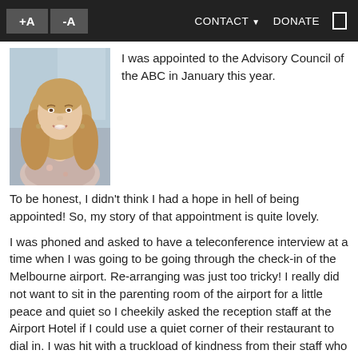+A  -A  CONTACT ▼  DONATE
[Figure (photo): Portrait photo of a smiling woman with long light-brown hair, wearing a floral top, photographed indoors.]
I was appointed to the Advisory Council of the ABC in January this year.
To be honest, I didn't think I had a hope in hell of being appointed! So, my story of that appointment is quite lovely.
I was phoned and asked to have a teleconference interview at a time when I was going to be going through the check-in of the Melbourne airport. Re-arranging was just too tricky! I really did not want to sit in the parenting room of the airport for a little peace and quiet so I cheekily asked the reception staff at the Airport Hotel if I could use a quiet corner of their restaurant to dial in. I was hit with a truckload of kindness from their staff who set me up in quiet boardroom and then fed me lunch. I was already on a feel-good high just coming from a Salvos lunch where I fed